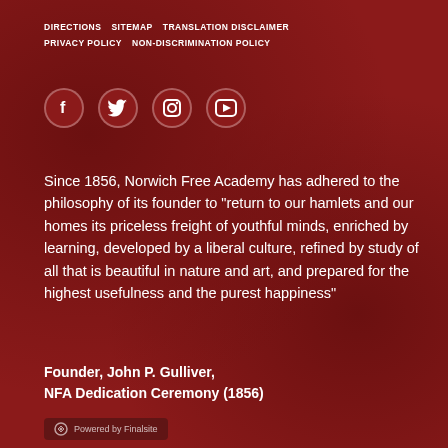DIRECTIONS   SITEMAP   TRANSLATION DISCLAIMER   PRIVACY POLICY   NON-DISCRIMINATION POLICY
[Figure (infographic): Social media icons: Facebook, Twitter, Instagram, YouTube — white icons on dark red circular buttons]
Since 1856, Norwich Free Academy has adhered to the philosophy of its founder to "return to our hamlets and our homes its priceless freight of youthful minds, enriched by learning, developed by a liberal culture, refined by study of all that is beautiful in nature and art, and prepared for the highest usefulness and the purest happiness"
Founder, John P. Gulliver,
NFA Dedication Ceremony (1856)
Powered by Finalsite